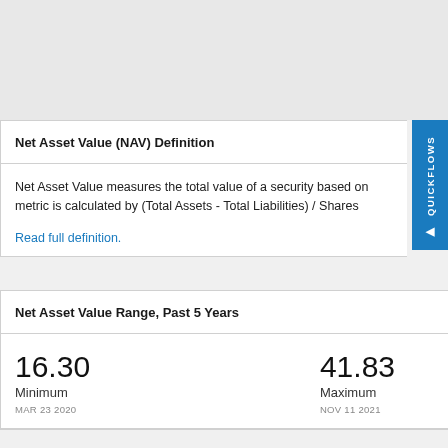Net Asset Value (NAV) Definition
Net Asset Value measures the total value of a security based on metric is calculated by (Total Assets - Total Liabilities) / Shares
Read full definition.
Net Asset Value Range, Past 5 Years
|  |  |
| --- | --- |
| 16.30
Minimum
MAR 23 2020 | 41.83
Maximum
NOV 11 2021 |